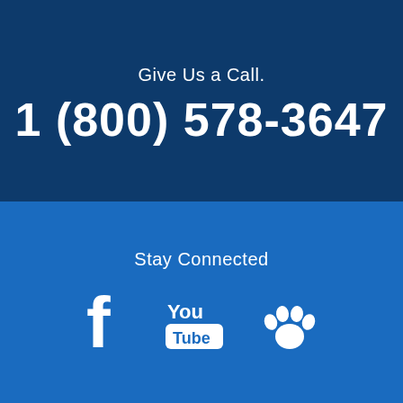Give Us a Call.
1 (800) 578-3647
Stay Connected
[Figure (illustration): Three white social media icons in a row: Facebook 'f' logo, YouTube logo, and a paw print icon]